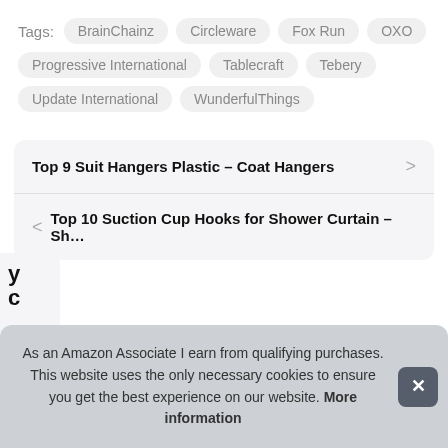Tags: BrainChainz  Circleware  Fox Run  OXO  Progressive International  Tablecraft  Tebery  Update International  WunderfulThings
Top 9 Suit Hangers Plastic – Coat Hangers
Top 10 Suction Cup Hooks for Shower Curtain – Sh…
As an Amazon Associate I earn from qualifying purchases. This website uses the only necessary cookies to ensure you get the best experience on our website. More information